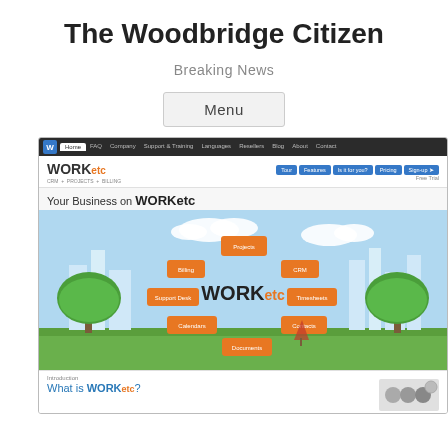The Woodbridge Citizen
Breaking News
Menu
[Figure (screenshot): Screenshot of the WORKetc website showing the homepage with navigation bar, WORKetc logo, blue navigation buttons (Tour, Features, Is it for you?, Pricing, Sign-up), a banner reading 'Your Business on WORKetc', a colorful feature graphic with icons for Projects, Billing, CRM, Support Desk, Timesheets, Calendars, Contacts, Documents, and at the bottom an introduction section with 'What is WORKetc?' heading]